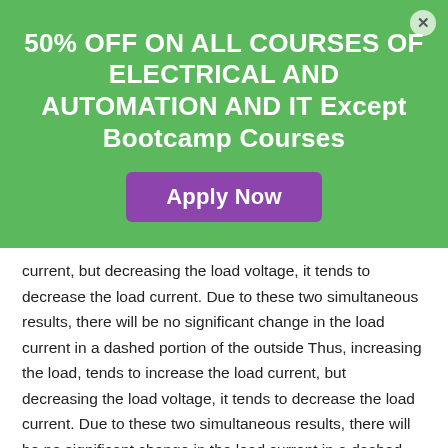50% OFF ON ALL COURSES OF ELECTRICAL AND AUTOMATION AND IT Except Bootcamp Courses
[Figure (other): Purple 'Apply Now' button on green banner]
current, but decreasing the load voltage, it tends to decrease the load current. Due to these two simultaneous results, there will be no significant change in the load current in a dashed portion of the outside Thus, increasing the load, tends to increase the load current, but decreasing the load voltage, it tends to decrease the load current. Due to these two simultaneous results, there will be no significant change in the load current in a dashed portion of the outside characteristics of the DC generator. This is why the DC series